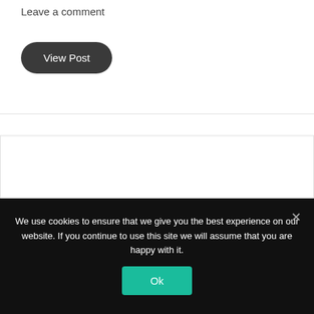Leave a comment
View Post
We use cookies to ensure that we give you the best experience on our website. If you continue to use this site we will assume that you are happy with it.
Ok